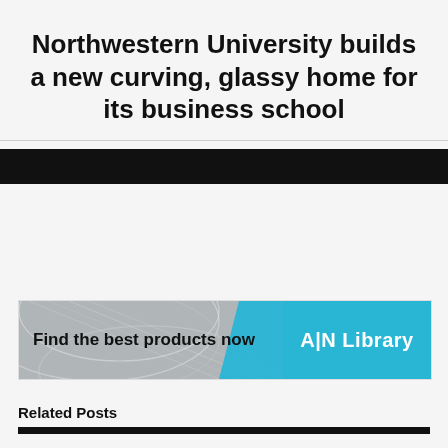Northwestern University builds a new curving, glassy home for its business school
[Figure (photo): Black banner/image placeholder below title]
[Figure (infographic): Advertisement banner: 'Find the best products now' with AN Library logo on cyan background]
Related Posts